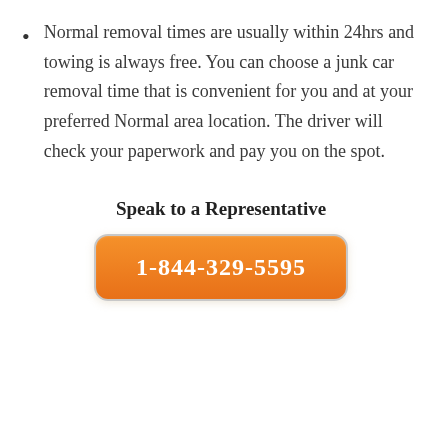Normal removal times are usually within 24hrs and towing is always free. You can choose a junk car removal time that is convenient for you and at your preferred Normal area location. The driver will check your paperwork and pay you on the spot.
Speak to a Representative
1-844-329-5595